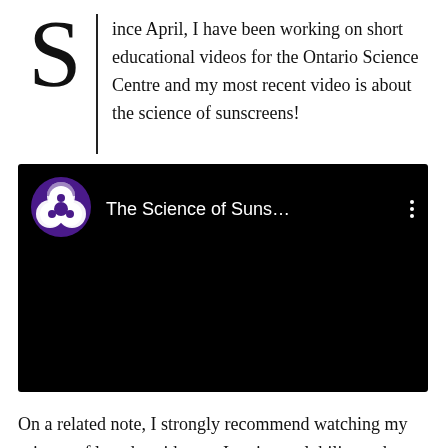Since April, I have been working on short educational videos for the Ontario Science Centre and my most recent video is about the science of sunscreens!
[Figure (screenshot): YouTube video thumbnail showing 'The Science of Suns...' with a purple icon featuring three overlapping circles and a menu icon (three dots) on a black background.]
On a related note, I strongly recommend watching my science of laundry video, as I go into solubility and polarity. Although this may appear to be about laundry detergent, solubility and polarity are key concepts in cosmetic